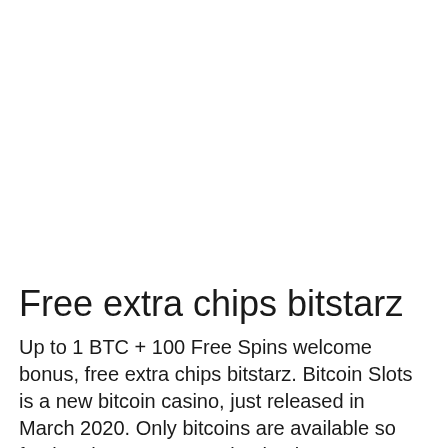Free extra chips bitstarz
Up to 1 BTC + 100 Free Spins welcome bonus, free extra chips bitstarz. Bitcoin Slots is a new bitcoin casino, just released in March 2020. Only bitcoins are available so far, but the games are absolutely great! Review Sites Comparing Products, free extra chips bitstarz.